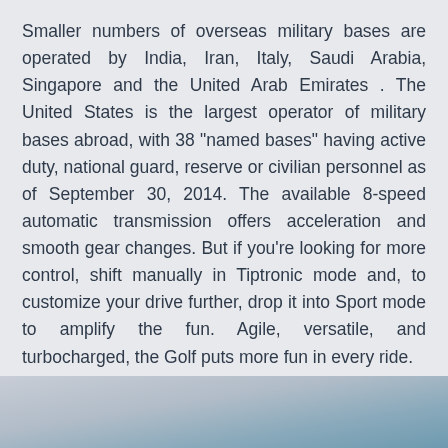Smaller numbers of overseas military bases are operated by India, Iran, Italy, Saudi Arabia, Singapore and the United Arab Emirates . The United States is the largest operator of military bases abroad, with 38 "named bases" having active duty, national guard, reserve or civilian personnel as of September 30, 2014. The available 8-speed automatic transmission offers acceleration and smooth gear changes. But if you're looking for more control, shift manually in Tiptronic mode and, to customize your drive further, drop it into Sport mode to amplify the fun. Agile, versatile, and turbocharged, the Golf puts more fun in every ride.
[Figure (photo): Partial view of a vehicle or outdoor scene, showing light sky and vehicle body colors, cropped at the bottom of the page.]